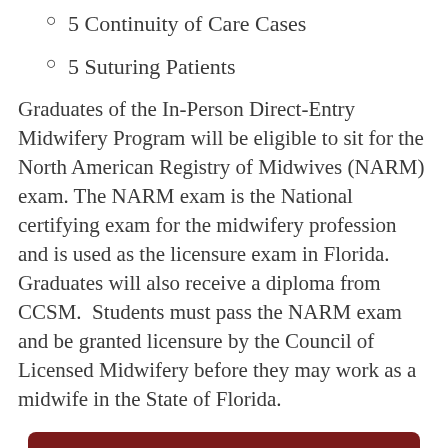5 Continuity of Care Cases
5 Suturing Patients
Graduates of the In-Person Direct-Entry Midwifery Program will be eligible to sit for the North American Registry of Midwives (NARM) exam. The NARM exam is the National certifying exam for the midwifery profession and is used as the licensure exam in Florida. Graduates will also receive a diploma from CCSM.  Students must pass the NARM exam and be granted licensure by the Council of Licensed Midwifery before they may work as a midwife in the State of Florida.
Find Out More About Prerequisites